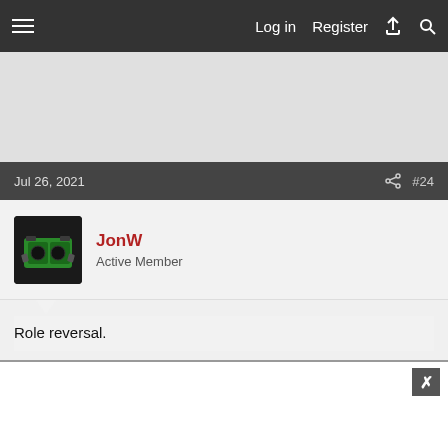Log in   Register
Jul 26, 2021   #24
JonW
Active Member
Role reversal.
[Figure (photo): Orange model car (Dodge Charger) with red lights on the roof, photographed on a gray background.]